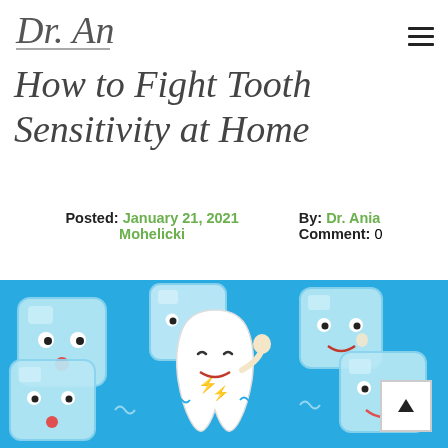Dr. Ania
How to Fight Tooth Sensitivity at Home
Posted: January 21, 2021 Mohelicki   By: Dr. Ania   Comment: 0
[Figure (illustration): Cartoon illustration of a white tooth character surrounded by four blue ice cube characters with faces, on a teal/blue background. The tooth appears to be in pain with lightning bolts, while the ice cubes look surprised or concerned.]